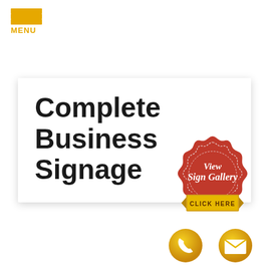MENU
Complete Business Signage
[Figure (illustration): Red scalloped seal badge with text 'View Sign Gallery' in white script and a gold ribbon banner reading 'CLICK HERE']
[Figure (illustration): Gold circle phone icon]
[Figure (illustration): Gold circle mail/envelope icon]